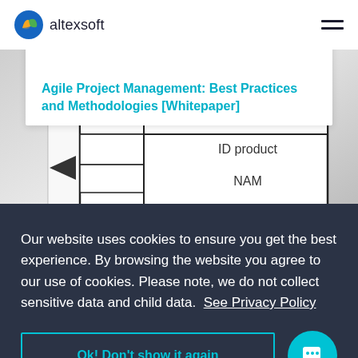altexsoft
Agile Project Management: Best Practices and Methodologies [Whitepaper]
[Figure (photo): Close-up photo of a database schema diagram on paper showing a 'Product' table with fields 'ID product' and 'NAM...' with 'PK' label]
Our website uses cookies to ensure you get the best experience. By browsing the website you agree to our use of cookies. Please note, we do not collect sensitive data and child data.  See Privacy Policy
Ok! Don't show it again